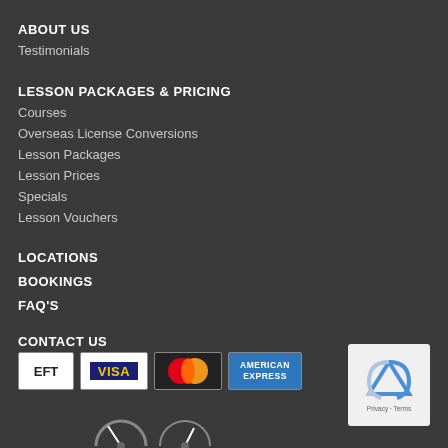ABOUT US
Testimonials
LESSON PACKAGES & PRICING
Courses
Overseas License Conversions
Lesson Packages
Lesson Prices
Specials
Lesson Vouchers
LOCATIONS
BOOKINGS
FAQ'S
CONTACT US
[Figure (other): Payment method badges: EFT, VISA, Mastercard, American Express]
[Figure (other): reCAPTCHA widget with Privacy and Terms text]